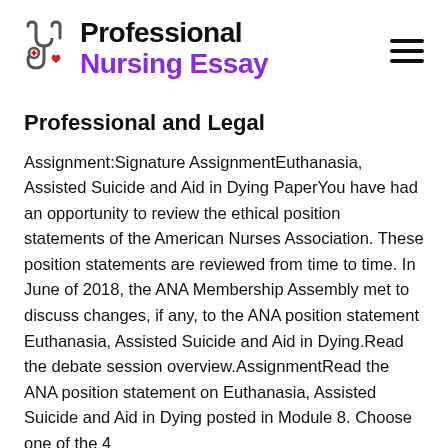[Figure (logo): Professional Nursing Essay logo with stethoscope and cross icon, hamburger menu icon on right]
Professional and Legal
Assignment:Signature AssignmentEuthanasia, Assisted Suicide and Aid in Dying PaperYou have had an opportunity to review the ethical position statements of the American Nurses Association. These position statements are reviewed from time to time. In June of 2018, the ANA Membership Assembly met to discuss changes, if any, to the ANA position statement Euthanasia, Assisted Suicide and Aid in Dying.Read the debate session overview.AssignmentRead the ANA position statement on Euthanasia, Assisted Suicide and Aid in Dying posted in Module 8. Choose one of the 4